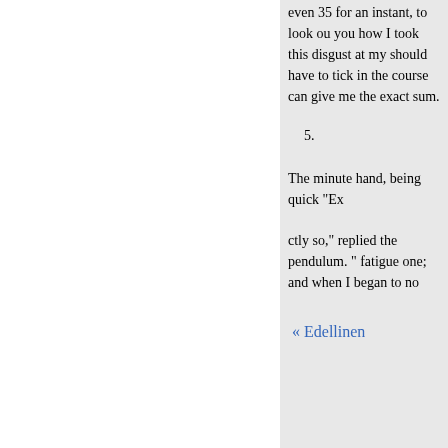even 35 for an instant, to look ou you how I took this disgust at my should have to tick in the course can give me the exact sum.
5.
The minute hand, being quick "Ex
ctly so," replied the pendulum. " fatigue one; and when I began to no
« Edellinen